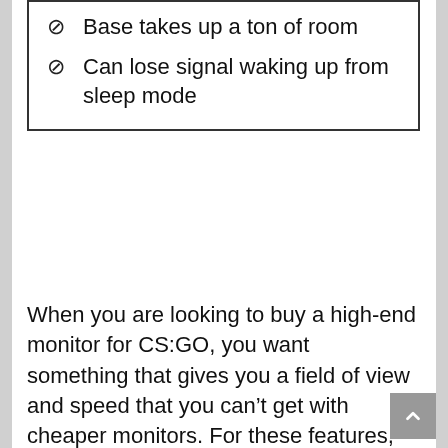Base takes up a ton of room
Can lose signal waking up from sleep mode
When you are looking to buy a high-end monitor for CS:GO, you want something that gives you a field of view and speed that you can't get with cheaper monitors. For these features, look no further than the Asus ROG PG348Q.
The PG348Q has a wide, curved screen that allows you to become immersed in your games. With the addition of G-Sync capability, which